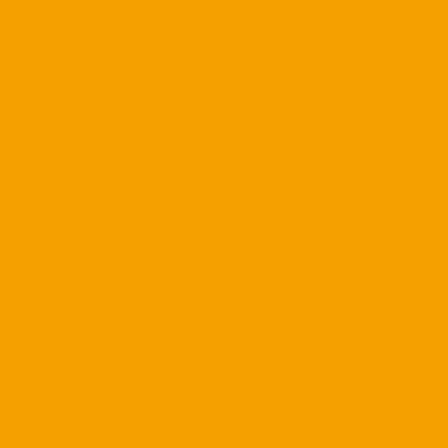challenge a lot of uppers.
But Luc is done, has been do...
To me, we end up with Dunkl... and a couple more CBs.
Check mate.
Posted by: Captain Optimist aka C...
[Figure (illustration): Abstract line drawing avatar on light blue background]
Cav- I think the issue with Sh... the same defense that shows... players who make the same... years ago- that's the "coachi... That performance against We... number of games that have b... Va., LSU, etc.). I'm trying to f... better so that they perform be... their toll, but this has been go... or inexperience.
Posted by: j.w. | November 04, 200...
[Figure (illustration): Small avatar image at bottom]